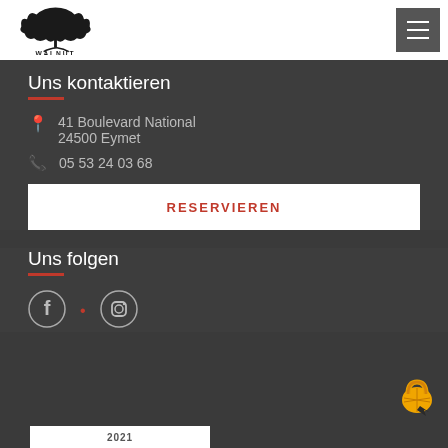[Figure (logo): Walnut restaurant/bar logo with tree illustration and text 'WALNUT' below]
[Figure (other): Hamburger menu button (dark square with three horizontal white lines)]
Uns kontaktieren
41 Boulevard National
24500 Eymet
05 53 24 03 68
RESERVIEREN
Uns folgen
[Figure (other): Facebook icon circle]
[Figure (other): Instagram icon circle]
[Figure (other): Orange lock/citrus icon bottom right corner]
2021